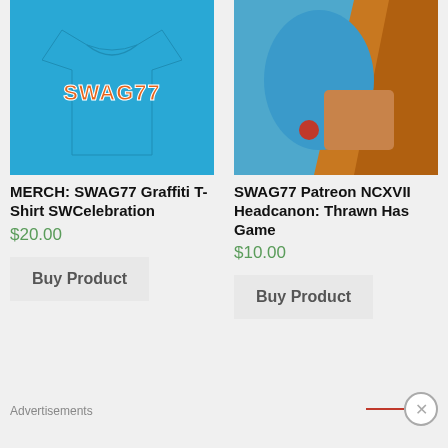[Figure (photo): Blue SWAG77 Graffiti T-shirt on light blue background]
[Figure (photo): Close-up photo showing blue and orange/brown colors, appears to be a character or costume detail]
MERCH: SWAG77 Graffiti T-Shirt SWCelebration
$20.00
Buy Product
SWAG77 Patreon NCXVII Headcanon: Thrawn Has Game
$10.00
Buy Product
Advertisements